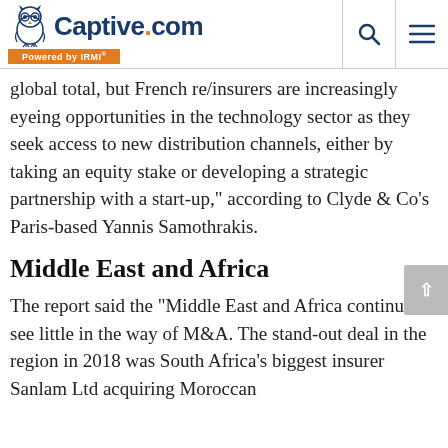Captive.com Powered by IRMI
global total, but French re/insurers are increasingly eyeing opportunities in the technology sector as they seek access to new distribution channels, either by taking an equity stake or developing a strategic partnership with a start-up," according to Clyde & Co's Paris-based Yannis Samothrakis.
Middle East and Africa
The report said the "Middle East and Africa continue to see little in the way of M&A. The stand-out deal in the region in 2018 was South Africa's biggest insurer Sanlam Ltd acquiring Moroccan